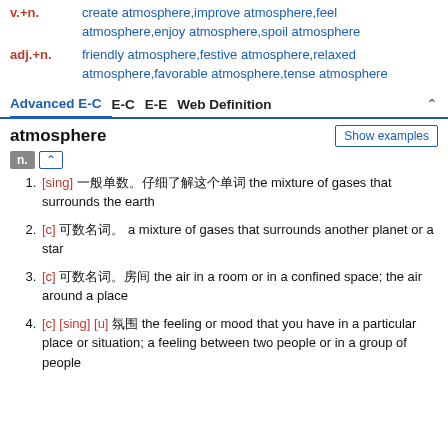v.+n.  create atmosphere,improve atmosphere,feel atmosphere,enjoy atmosphere,spoil atmosphere
adj.+n.  friendly atmosphere,festive atmosphere,relaxed atmosphere,favorable atmosphere,tense atmosphere
Advanced E-C  E-C  E-E  Web Definition
atmosphere
Show examples
n.
1. [sing] (Chinese chars) the mixture of gases that surrounds the earth
2. [c] (Chinese chars) a mixture of gases that surrounds another planet or a star
3. [c] (Chinese chars) the air in a room or in a confined space; the air around a place
4. [c] [sing] [u] (Chinese chars) the feeling or mood that you have in a particular place or situation; a feeling between two people or in a group of people